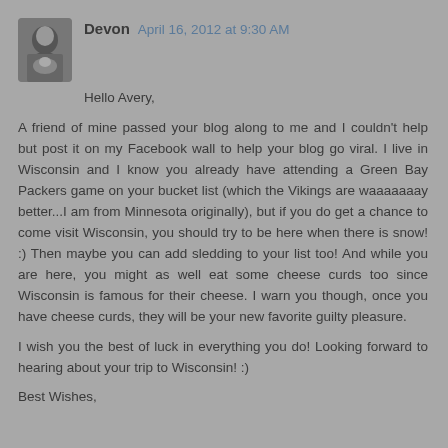Devon  April 16, 2012 at 9:30 AM
Hello Avery,
A friend of mine passed your blog along to me and I couldn't help but post it on my Facebook wall to help your blog go viral. I live in Wisconsin and I know you already have attending a Green Bay Packers game on your bucket list (which the Vikings are waaaaaaay better...I am from Minnesota originally), but if you do get a chance to come visit Wisconsin, you should try to be here when there is snow! :) Then maybe you can add sledding to your list too! And while you are here, you might as well eat some cheese curds too since Wisconsin is famous for their cheese. I warn you though, once you have cheese curds, they will be your new favorite guilty pleasure.
I wish you the best of luck in everything you do! Looking forward to hearing about your trip to Wisconsin! :)
Best Wishes,